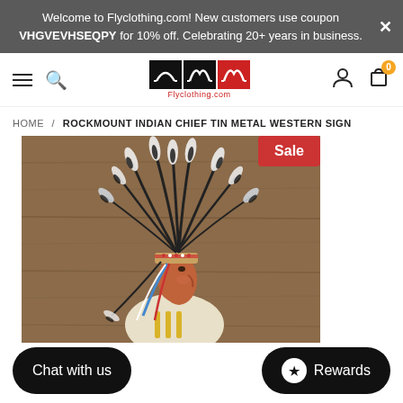Welcome to Flyclothing.com! New customers use coupon VHGVEVHSEQPY for 10% off. Celebrating 20+ years in business.
[Figure (screenshot): Flyclothing.com website navigation bar with hamburger menu, search icon, logo (three jacket icons in black and red boxes), user icon, and cart icon with orange badge showing 0]
HOME / ROCKMOUNT INDIAN CHIEF TIN METAL WESTERN SIGN
[Figure (photo): Painting of a Native American chief in profile wearing a large feathered headdress with black-tipped feathers, on a rustic wood background. A red Sale badge is in the upper right.]
Chat with us
Rewards